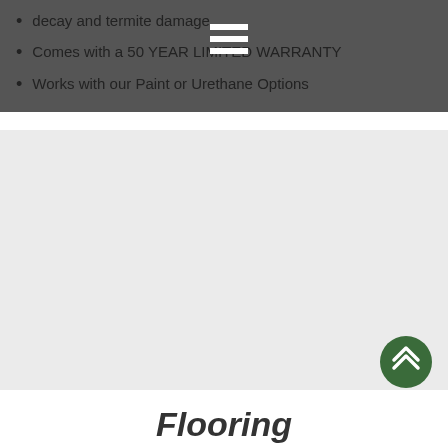decay and termite damage
Comes with a 50 YEAR LIMITED WARRANTY
Works with our Paint or Urethane Options
[Figure (other): Large light gray placeholder image area]
[Figure (other): Dark green circular scroll-to-top button with double chevron up arrow]
Flooring